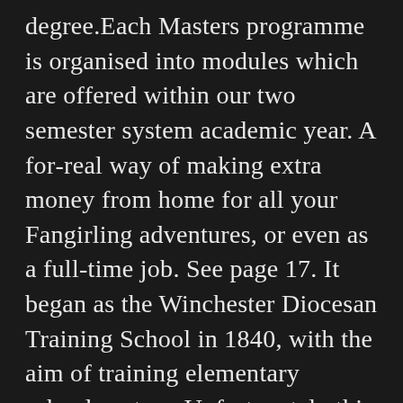degree.Each Masters programme is organised into modules which are offered within our two semester system academic year. A for-real way of making extra money from home for all your Fangirling adventures, or even as a full-time job. See page 17. It began as the Winchester Diocesan Training School in 1840, with the aim of training elementary schoolmasters. Unfortunately this means that some services of the online store will be delayed or cancelled altogether. Winchester offers a wide range of under- and post-graduate study options at various levels of award that can result in different qualifications. Main address. University of Winchester VENTA 35. Winchester University is a fictional Ivy League institution